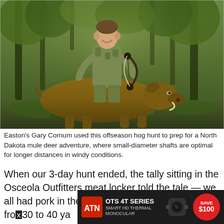[Figure (photo): A hunter in camouflage gear kneeling behind a large harvested feral hog in a wooded outdoor setting. The hunter is holding a compound bow and smiling.]
Easton's Gary Cornum used this offseason hog hunt to prep for a North Dakota mule deer adventure, where small-diameter shafts are optimal for longer distances in windy conditions.
When our 3-day hunt ended, the tally sitting in the Osceola Outfitters meat locker told the tale — we all had pork in the freezer, having taken hogs from 30 to 40 yards... blank... heads
[Figure (infographic): ATN OTS 4T Series Smart HD Thermal Monocular advertisement banner with Save $100 badge. Dark background with product image.]